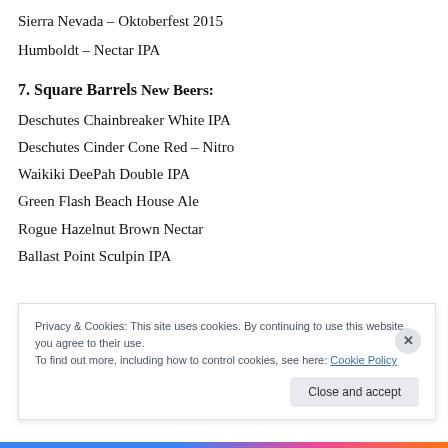Sierra Nevada – Oktoberfest 2015
Humboldt – Nectar IPA
7. Square Barrels
New Beers:
Deschutes Chainbreaker White IPA
Deschutes Cinder Cone Red – Nitro
Waikiki DeePah Double IPA
Green Flash Beach House Ale
Rogue Hazelnut Brown Nectar
Ballast Point Sculpin IPA
Privacy & Cookies: This site uses cookies. By continuing to use this website, you agree to their use.
To find out more, including how to control cookies, see here: Cookie Policy